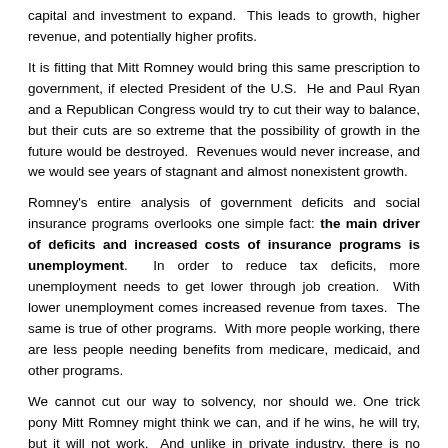capital and investment to expand. This leads to growth, higher revenue, and potentially higher profits.
It is fitting that Mitt Romney would bring this same prescription to government, if elected President of the U.S. He and Paul Ryan and a Republican Congress would try to cut their way to balance, but their cuts are so extreme that the possibility of growth in the future would be destroyed. Revenues would never increase, and we would see years of stagnant and almost nonexistent growth.
Romney's entire analysis of government deficits and social insurance programs overlooks one simple fact: the main driver of deficits and increased costs of insurance programs is unemployment. In order to reduce tax deficits, more unemployment needs to get lower through job creation. With lower unemployment comes increased revenue from taxes. The same is true of other programs. With more people working, there are less people needing benefits from medicare, medicaid, and other programs.
We cannot cut our way to solvency, nor should we. One trick pony Mitt Romney might think we can, and if he wins, he will try, but it will not work. And unlike in private industry, there is no other country to move on to after he ruins this one.